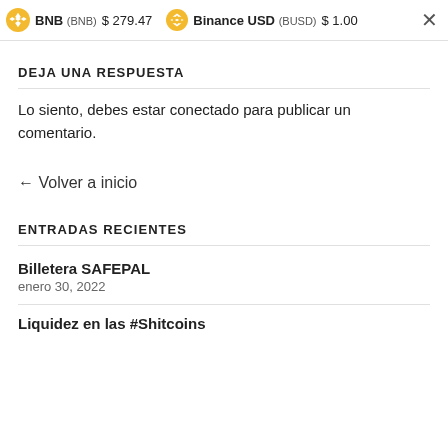BNB (BNB) $279.47  Binance USD (BUSD) $1.00  ×
DEJA UNA RESPUESTA
Lo siento, debes estar conectado para publicar un comentario.
← Volver a inicio
ENTRADAS RECIENTES
Billetera SAFEPAL
enero 30, 2022
Liquidez en las #Shitcoins